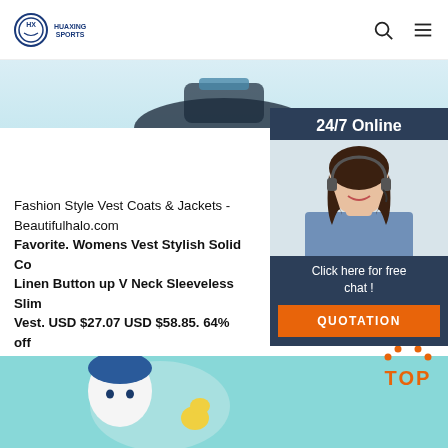HUAXING SPORTS — logo header with search and menu icons
[Figure (photo): Partial product image (clothing/vest) at top of page, dark item on light background]
[Figure (photo): 24/7 Online chat widget with photo of woman wearing headset, 'Click here for free chat!' text, and QUOTATION button on dark navy background]
Fashion Style Vest Coats & Jackets - Beautifulhalo.com
Favorite. Womens Vest Stylish Solid Color Linen Button up V Neck Sleeveless Slim Vest. USD $27.07 USD $58.85. 64% off View. Favorite. Women's Quilted Padded Sleeveless Active Hooded Vest Coat. USD USD $109.97. 40% off.
Get Price
[Figure (infographic): TOP button with orange dotted chevron/arrow pointing up and red-orange TOP label]
[Figure (photo): Bottom partial image showing cartoon/illustrated character on light teal/turquoise background]